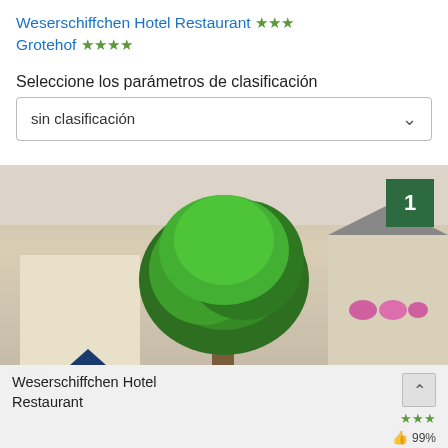Weserschiffchen Hotel Restaurant ★★★ Grotehof ★★★★
Seleccione los parámetros de clasificación
sin clasificación
[Figure (photo): Photo of Weserschiffchen Hotel Restaurant exterior showing a large green tree in the center, red-accented buildings on the left, a traditional building on the right with flowers, green hedges in the foreground, and watermark 'hotel.de' in the lower left. A dark green badge with number '1' appears in the upper right corner.]
Weserschiffchen Hotel Restaurant